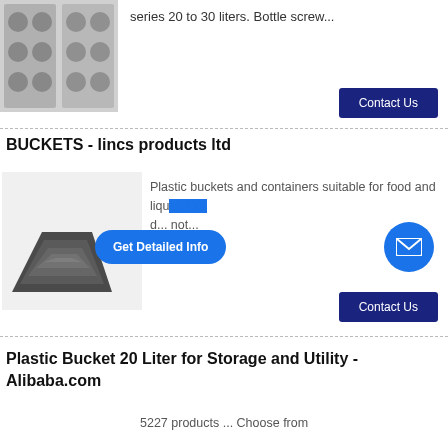series 20 to 30 liters. Bottle screw...
[Figure (photo): Metal industrial blow mold machine with multiple cavities]
Contact Us
BUCKETS - lincs products ltd
[Figure (photo): Stacked black plastic buckets/containers of various sizes]
Plastic buckets and containers suitable for food and liquid. Our d... not...
Get Detailed Info
Contact Us
Plastic Bucket 20 Liter for Storage and Utility - Alibaba.com
5227 products ... Choose from